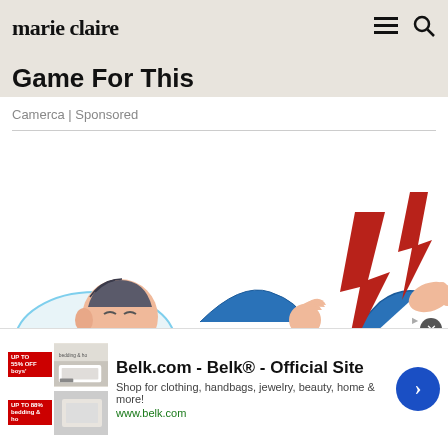marie claire
Game For This
Camerca | Sponsored
[Figure (illustration): Illustration of a man in blue pajamas lying on a pillow, grimacing in pain, with his leg raised and red lightning bolt symbols indicating leg cramp pain near his foot and calf.]
Belk.com - Belk® - Official Site
Shop for clothing, handbags, jewelry, beauty, home & more!
www.belk.com